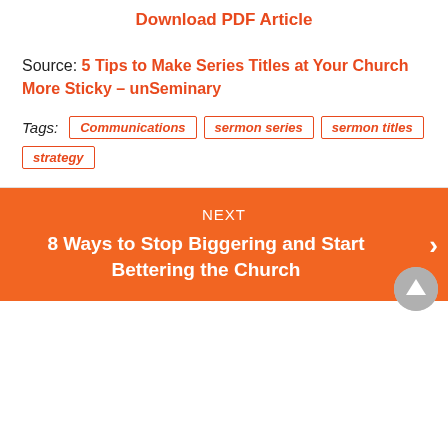Download PDF Article
Source: 5 Tips to Make Series Titles at Your Church More Sticky – unSeminary
Tags: Communications  sermon series  sermon titles  strategy
NEXT
8 Ways to Stop Biggering and Start Bettering the Church